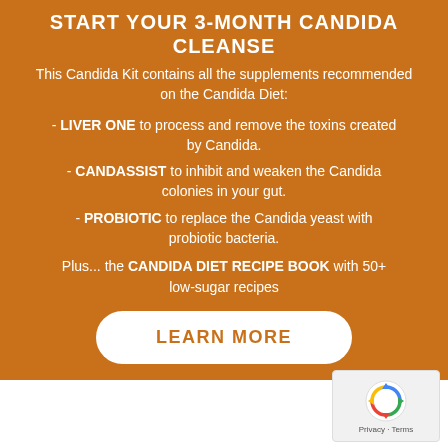START YOUR 3-MONTH CANDIDA CLEANSE
This Candida Kit contains all the supplements recommended on the Candida Diet:
- LIVER ONE to process and remove the toxins created by Candida.
- CANDASSIST to inhibit and weaken the Candida colonies in your gut.
- PROBIOTIC to replace the Candida yeast with probiotic bacteria.
Plus... the CANDIDA DIET RECIPE BOOK with 50+ low-sugar recipes
LEARN MORE
[Figure (logo): reCAPTCHA logo with Privacy - Terms text]